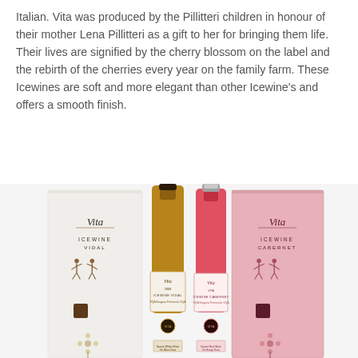Italian. Vita was produced by the Pillitteri children in honour of their mother Lena Pillitteri as a gift to her for bringing them life. Their lives are signified by the cherry blossom on the label and the rebirth of the cherries every year on the family farm. These Icewines are soft and more elegant than other Icewine's and offers a smooth finish.
[Figure (photo): Two Vita Icewine bottles (Vidal and Cabernet) with their respective gift boxes. The left box and bottle are white/cream colored for Vidal Icewine; the right box and bottle are pink for Cabernet Icewine. Both boxes display the Vita script logo, decorative dancers, and cherry blossom motifs.]